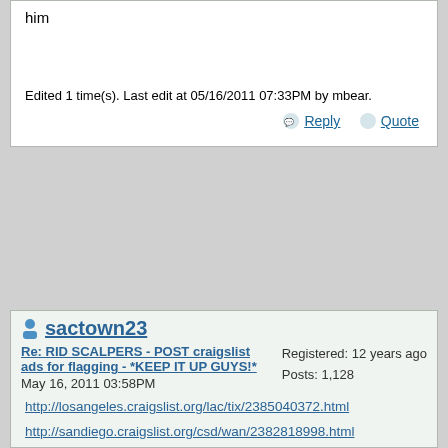him

Edited 1 time(s). Last edit at 05/16/2011 07:33PM by mbear.
Reply | Quote
sactown23
Re: RID SCALPERS - POST craigslist ads for flagging - *KEEP IT UP GUYS!*
May 16, 2011 03:58PM
Registered: 12 years ago
Posts: 1,128
http://losangeles.craigslist.org/lac/tix/2385040372.html
http://sandiego.craigslist.org/csd/wan/2382818998.html
http://sfbay.craigslist.org/sby/tix/2384986672.html
http://sfbay.craigslist.org/sby/wan/2385054783.html
http://fresno.craigslist.org/for/2384045836.html
Reply | Quote